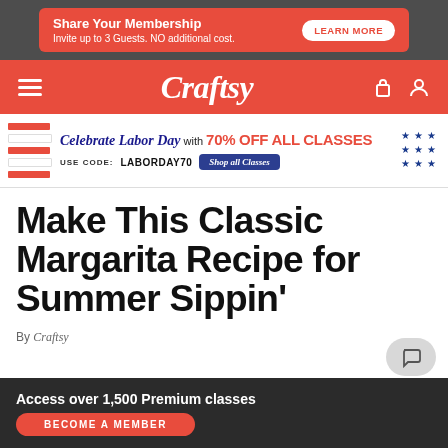[Figure (screenshot): Orange ad banner: Share Your Membership - Invite up to 3 Guests. NO additional cost. LEARN MORE button]
Craftsy
[Figure (infographic): Labor Day sale banner: Celebrate Labor Day with 70% OFF ALL CLASSES. USE CODE: LABORDAY70. Shop all Classes button. American flag stripes and stars decoration.]
Make This Classic Margarita Recipe for Summer Sippin'
By Craftsy
Access over 1,500 Premium classes
[Figure (other): BECOME A MEMBER button (partially visible at bottom)]